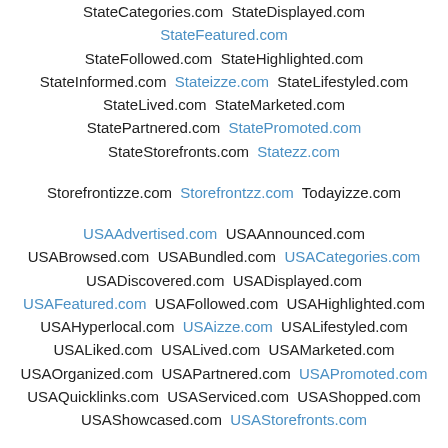StateCategories.com StateDisplayed.com StateFeatured.com StateFollowed.com StateHighlighted.com StateInformed.com Stateizze.com StateLifestyled.com StateLived.com StateMarketed.com StatePartnered.com StatePromoted.com StateStorefronts.com Statezz.com
Storefrontizze.com Storefrontzz.com Todayizze.com
USAAdvertised.com USAAnnounced.com USABrowsed.com USABundled.com USACategories.com USADiscovered.com USADisplayed.com USAFeatured.com USAFollowed.com USAHighlighted.com USAHyperlocal.com USAizze.com USALifestyled.com USALiked.com USALived.com USAMarketed.com USAOrganized.com USAPartnered.com USAPromoted.com USAQuicklinks.com USAServiced.com USAShopped.com USAShowcased.com USAStorefronts.com
Vacationizze.com Vacationzz.com Visitorizze.com